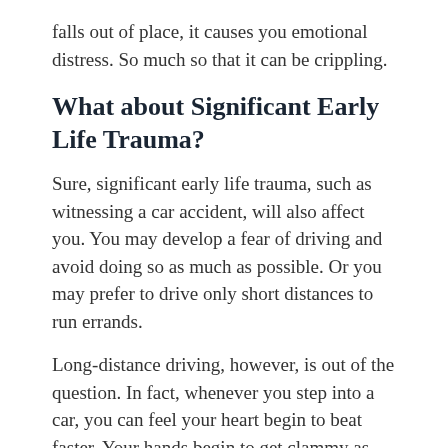falls out of place, it causes you emotional distress. So much so that it can be crippling.
What about Significant Early Life Trauma?
Sure, significant early life trauma, such as witnessing a car accident, will also affect you. You may develop a fear of driving and avoid doing so as much as possible. Or you may prefer to drive only short distances to run errands.
Long-distance driving, however, is out of the question. In fact, whenever you step into a car, you can feel your heart begin to beat faster. Your hands begin to get clammy as you clutch the steering wheel so tight your knuckles turn white.
Your significant early life trauma can definitely have...